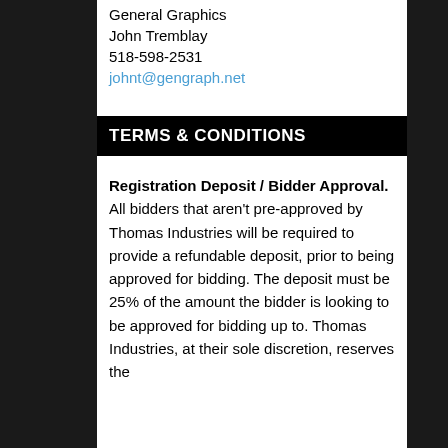General Graphics
John Tremblay
518-598-2531
johnt@gengraph.net
TERMS & CONDITIONS
Registration Deposit / Bidder Approval.  All bidders that aren't pre-approved by Thomas Industries will be required to provide a refundable deposit, prior to being approved for bidding.  The deposit must be  25% of the amount the bidder is looking to be approved for bidding up to.  Thomas Industries, at their sole discretion, reserves the